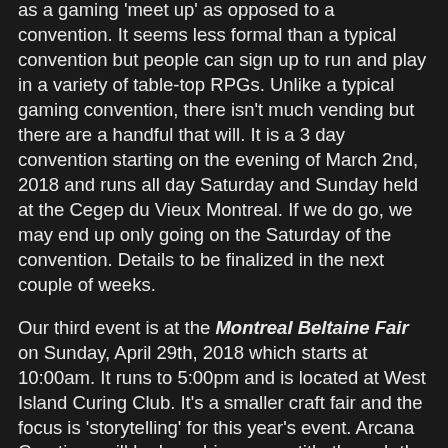as a gaming 'meet up' as opposed to a convention. It seems less formal than a typical convention but people can sign up to run and play in a variety of table-top RPGs. Unlike a typical gaming convention, there isn't much vending but there are a handful that will. It is a 3 day convention starting on the evening of March 2nd, 2018 and runs all day Saturday and Sunday held at the Cegep du Vieux Montreal. If we do go, we may end up only going on the Saturday of the convention. Details to be finalized in the next couple of weeks.
Our third event is at the Montreal Beltaine Fair on Sunday, April 29th, 2018 which starts at 10:00am. It runs to 5:00pm and is located at West Island Curing Club. It's a smaller craft fair and the focus is 'storytelling' for this year's event. Arcana Creations will be launching a new title through the Arcana Elements imprint at the fair entitled: Quebec's Distinct Paganism which is an ethnography on the Montreal Pagan community.
Our fourth event and our biggest will be at the Montreal Comic Con being held at the Palais des Congres during the weekend of July 6th-8th, 2018. More details to be announced.